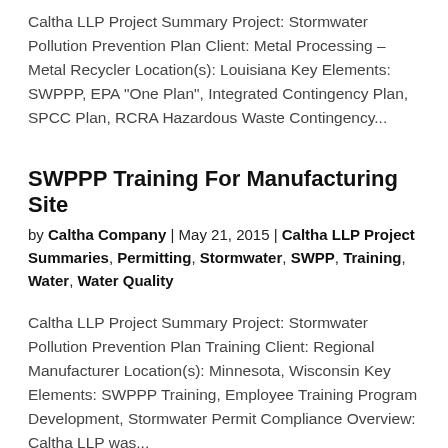Caltha LLP Project Summary Project: Stormwater Pollution Prevention Plan Client: Metal Processing – Metal Recycler Location(s): Louisiana Key Elements: SWPPP, EPA "One Plan", Integrated Contingency Plan, SPCC Plan, RCRA Hazardous Waste Contingency...
SWPPP Training For Manufacturing Site
by Caltha Company | May 21, 2015 | Caltha LLP Project Summaries, Permitting, Stormwater, SWPP, Training, Water, Water Quality
Caltha LLP Project Summary Project: Stormwater Pollution Prevention Plan Training Client: Regional Manufacturer Location(s): Minnesota, Wisconsin Key Elements: SWPPP Training, Employee Training Program Development, Stormwater Permit Compliance Overview: Caltha LLP was...